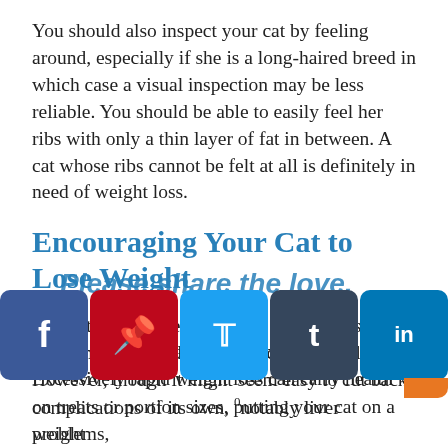You should also inspect your cat by feeling around, especially if she is a long-haired breed in which case a visual inspection may be less reliable. You should be able to easily feel her ribs with only a thin layer of fat in between. A cat whose ribs cannot be felt at all is definitely in need of weight loss.
Encouraging Your Cat to Lose Weight
By far the easiest element of a weight loss programme to implement is a controlled diet. However, though it might seem easy to cut back on treats or portion sizes, putting your cat on a weight diet is something that approaches with care. Excessively rapid weight loss can carry health complications of its own, notably liver problems,
[Figure (infographic): Social share buttons overlay: Facebook (blue), Pinterest (red), Twitter (light blue), Tumblr (dark blue), LinkedIn (blue with orange accent). Watermark text reads 'Please share the love.' in italic blue script.]